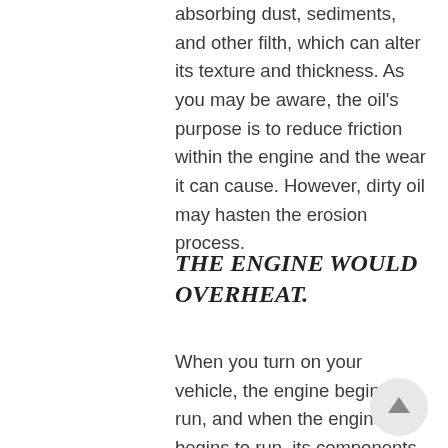absorbing dust, sediments, and other filth, which can alter its texture and thickness. As you may be aware, the oil's purpose is to reduce friction within the engine and the wear it can cause. However, dirty oil may hasten the erosion process.
THE ENGINE WOULD OVERHEAT.
When you turn on your vehicle, the engine begins to run, and when the engine begins to run, its components begin to move. When the engine's components move, they rub against